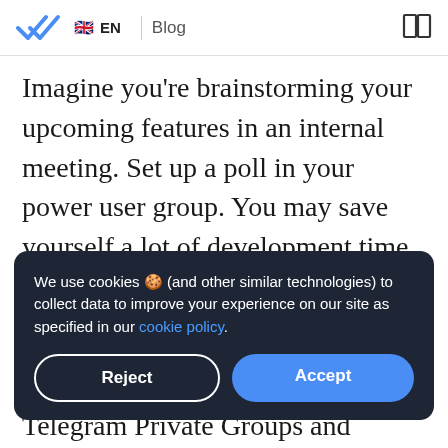EN | Blog
Imagine you're brainstorming your upcoming features in an internal meeting. Set up a poll in your power user group. You may save yourself a lot of development time by developing only features that your power users vouch for.
Now that you understand what are Telegram Private Groups and Telegram Public Groups used
We use cookies 🍪 (and other similar technologies) to collect data to improve your experience on our site as specified in our cookie policy.
Reject | Accept